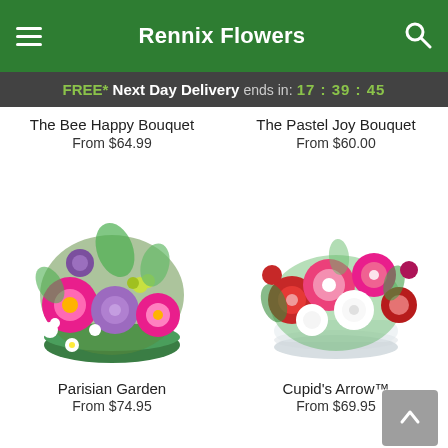Rennix Flowers
FREE* Next Day Delivery ends in: 17:39:45
The Bee Happy Bouquet
From $64.99
The Pastel Joy Bouquet
From $60.00
[Figure (photo): Parisian Garden flower arrangement in a green bowl with purple roses, pink gerberas, and mixed wildflowers]
[Figure (photo): Cupid's Arrow flower arrangement in a clear glass bowl with pink and red roses and mixed flowers]
Parisian Garden
From $74.95
Cupid's Arrow™
From $69.95